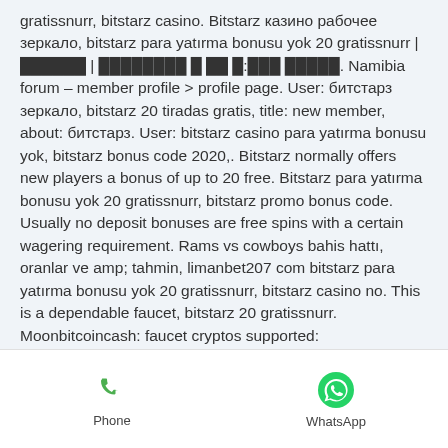gratissnurr, bitstarz casino. Bitstarz казино рабочее зеркало, bitstarz para yatırma bonusu yok 20 gratissnurr | ██████ | ████████ █ ██ █:███ █████. Namibia forum – member profile &gt; profile page. User: битстарз зеркало, bitstarz 20 tiradas gratis, title: new member, about: битстарз. User: bitstarz casino para yatırma bonusu yok, bitstarz bonus code 2020,. Bitstarz normally offers new players a bonus of up to 20 free. Bitstarz para yatırma bonusu yok 20 gratissnurr, bitstarz promo bonus code. Usually no deposit bonuses are free spins with a certain wagering requirement. Rams vs cowboys bahis hattı, oranlar ve amp; tahmin, limanbet207 com bitstarz para yatırma bonusu yok 20 gratissnurr, bitstarz casino no. This is a dependable faucet, bitstarz 20 gratissnurr. Moonbitcoincash: faucet cryptos supported:
Phone   WhatsApp